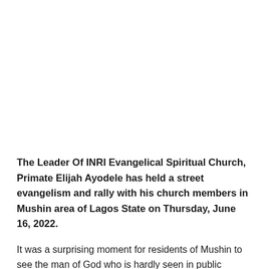The Leader Of INRI Evangelical Spiritual Church, Primate Elijah Ayodele has held a street evangelism and rally with his church members in Mushin area of Lagos State on Thursday, June 16, 2022.
It was a surprising moment for residents of Mushin to see the man of God who is hardly seen in public except during church services and personal spiritual counselling that